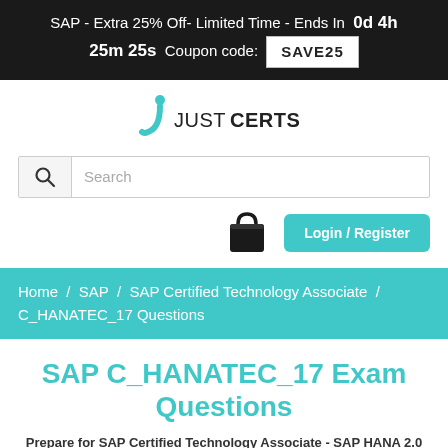SAP - Extra 25% Off- Limited Time - Ends In  0d 4h 25m 25s  Coupon code: SAVE25
[Figure (logo): Just Certs logo with teal J icon and text JUST CERTS]
Search
Login / Register
Home  /  SAP  /  SAP Certified Technology Associate  /  C_HANATEC_17 Questions
SAP C_HANATEC_17 Exam Questions
Prepare for SAP Certified Technology Associate - SAP HANA 2.0 SPS05 Exam